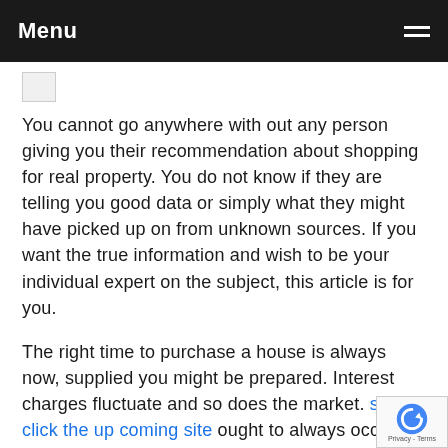Menu
[Figure (other): Broken image placeholder icon]
You cannot go anywhere with out any person giving you their recommendation about shopping for real property. You do not know if they are telling you good data or simply what they might have picked up on from unknown sources. If you want the true information and wish to be your individual expert on the subject, this article is for you.
The right time to purchase a house is always now, supplied you might be prepared. Interest charges fluctuate and so does the market. simply click the up coming site ought to always occur when you find yourself ready, not when the stars are aligned. The